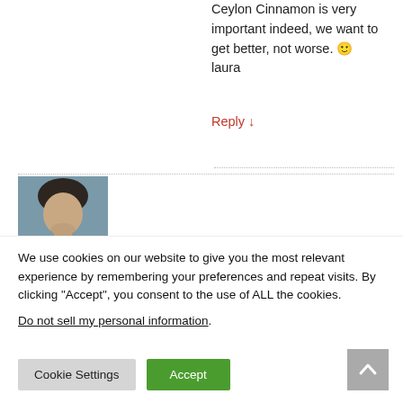Ceylon Cinnamon is very important indeed, we want to get better, not worse. 🙂 laura
Reply ↓
[Figure (photo): User avatar photo showing a man's face with dark hair against a blue-grey background]
We use cookies on our website to give you the most relevant experience by remembering your preferences and repeat visits. By clicking "Accept", you consent to the use of ALL the cookies. Do not sell my personal information.
[Figure (other): Back to top button with upward chevron arrow on grey background]